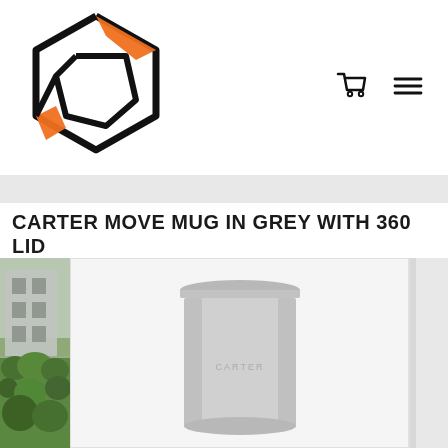[Figure (logo): Company logo: abstract hexagon shape with orange accent and arrow elements]
[Figure (illustration): Shopping cart icon and hamburger menu icon navigation controls]
CARTER MOVE MUG IN GREY WITH 360 LID
[Figure (photo): Left partial image: outdoor scene with plants and building]
[Figure (photo): Center product image: grey cylindrical Carter Move Mug with 360 lid on white background]
[Figure (photo): Right partial image: cropped edge of another product photo]